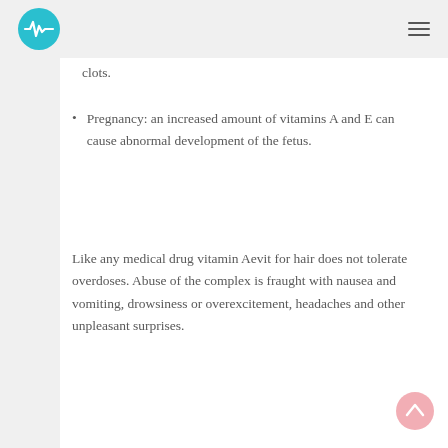clots.
Pregnancy: an increased amount of vitamins A and E can cause abnormal development of the fetus.
Like any medical drug vitamin Aevit for hair does not tolerate overdoses. Abuse of the complex is fraught with nausea and vomiting, drowsiness or overexcitement, headaches and other unpleasant surprises.